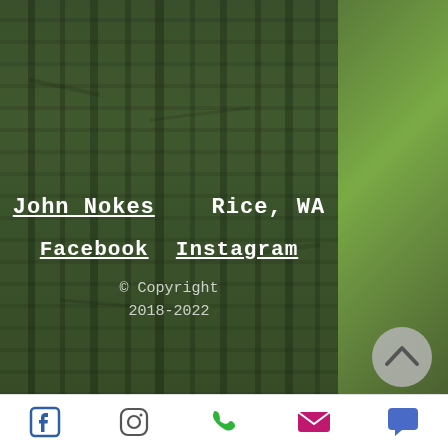[Figure (photo): Forest background with dark green trees in center and brighter sunlit trees on right side]
John Nokes    Rice, WA
Facebook  Instagram
© Copyright
2018-2022
[Figure (other): Scroll-up button, circular grey button with upward chevron arrow]
[Figure (other): Bottom toolbar with Facebook, Instagram, phone, email, and chat icons]